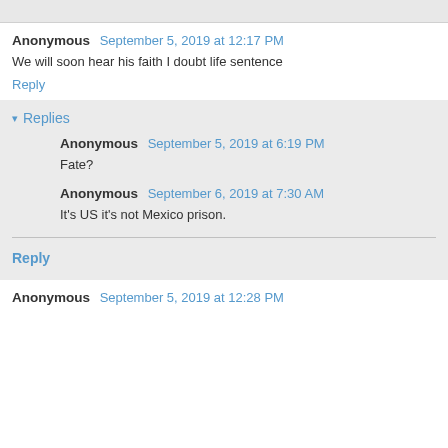Anonymous September 5, 2019 at 12:17 PM
We will soon hear his faith I doubt life sentence
Reply
Replies
Anonymous September 5, 2019 at 6:19 PM
Fate?
Anonymous September 6, 2019 at 7:30 AM
It's US it's not Mexico prison.
Reply
Anonymous September 5, 2019 at 12:28 PM